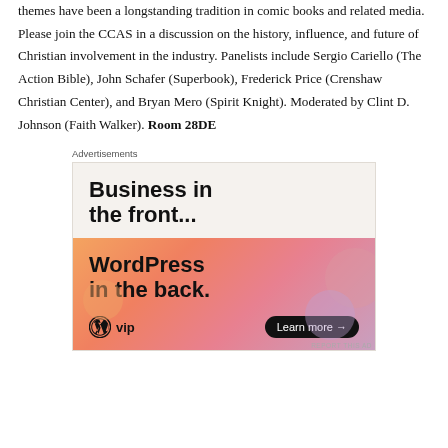themes have been a longstanding tradition in comic books and related media. Please join the CCAS in a discussion on the history, influence, and future of Christian involvement in the industry. Panelists include Sergio Cariello (The Action Bible), John Schafer (Superbook), Frederick Price (Crenshaw Christian Center), and Bryan Mero (Spirit Knight). Moderated by Clint D. Johnson (Faith Walker). Room 28DE
[Figure (infographic): WordPress VIP advertisement. Top section on light beige background reads 'Business in the front...' in bold black text. Bottom section on orange-pink gradient background reads 'WordPress in the back.' with WordPress VIP logo and a 'Learn more →' button.]